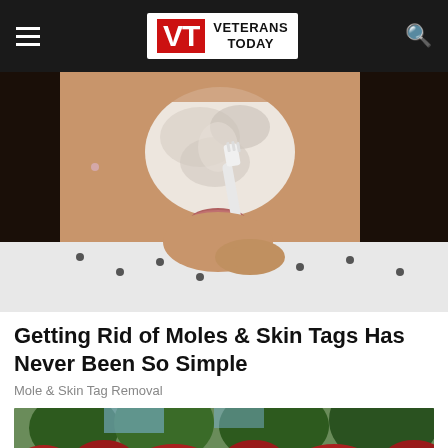Veterans Today
[Figure (photo): Woman applying white cream/mask to her nose and face with a toothbrush, wearing a white polka dot shirt, with long dark hair]
Getting Rid of Moles & Skin Tags Has Never Been So Simple
Mole & Skin Tag Removal
[Figure (photo): Camp Lejeune entrance sign with trees and red flowers in background]